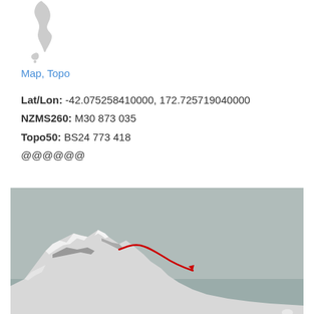[Figure (map): Small grey silhouette map of New Zealand with a location marker]
Map, Topo
Lat/Lon: -42.075258410000, 172.725719040000
NZMS260: M30 873 035
Topo50: BS24 773 418
@@@@@@
[Figure (photo): Mountain landscape photo showing snow-capped peaks with a red route line drawn over the ridgeline, grey overcast sky in background]